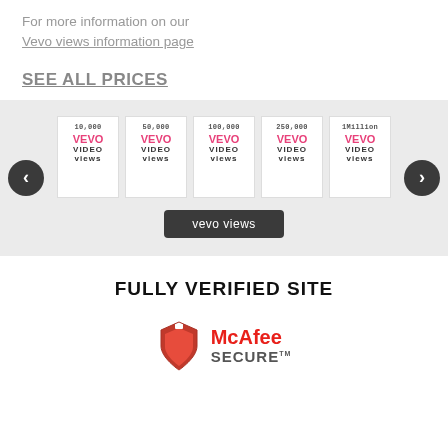For more information on our Vevo views information page
SEE ALL PRICES
[Figure (screenshot): Carousel of Vevo video views product cards showing 10,000, 50,000, 100,000, 250,000, and 1Million Vevo Video Views packages, with left/right navigation arrows and a 'vevo views' button]
FULLY VERIFIED SITE
[Figure (logo): McAfee Secure logo with red shield icon and McAfee SECURE text]